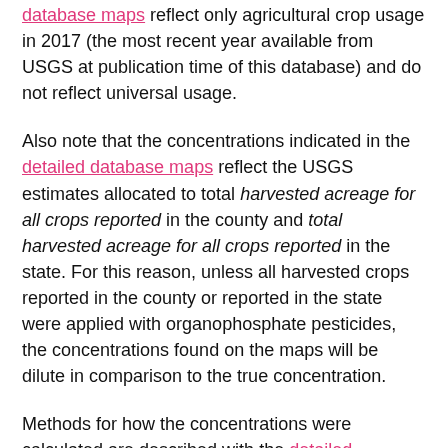database maps reflect only agricultural crop usage in 2017 (the most recent year available from USGS at publication time of this database) and do not reflect universal usage.
Also note that the concentrations indicated in the detailed database maps reflect the USGS estimates allocated to total harvested acreage for all crops reported in the county and total harvested acreage for all crops reported in the state. For this reason, unless all harvested crops reported in the county or reported in the state were applied with organophosphate pesticides, the concentrations found on the maps will be dilute in comparison to the true concentration.
Methods for how the concentrations were calculated are described with the detailed database maps.
Pesticide use data pertaining to non-contiguous states